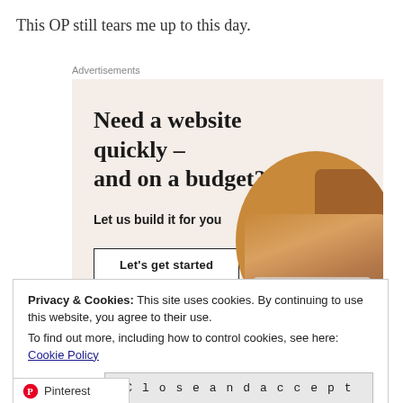This OP still tears me up to this day.
Advertisements
[Figure (infographic): Advertisement banner with beige background. Headline: 'Need a website quickly – and on a budget?' Subtext: 'Let us build it for you'. Button: 'Let's get started'. Photo of hands typing on a laptop in a circular crop on the right side.]
Privacy & Cookies: This site uses cookies. By continuing to use this website, you agree to their use.
To find out more, including how to control cookies, see here: Cookie Policy
Close and accept
Pinterest